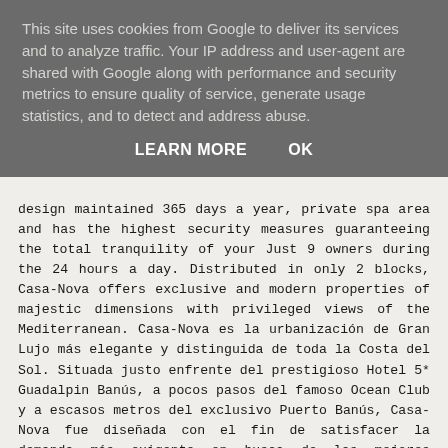This site uses cookies from Google to deliver its services and to analyze traffic. Your IP address and user-agent are shared with Google along with performance and security metrics to ensure quality of service, generate usage statistics, and to detect and address abuse.
LEARN MORE    OK
design maintained 365 days a year, private spa area and has the highest security measures guaranteeing the total tranquility of your Just 9 owners during the 24 hours a day. Distributed in only 2 blocks, Casa-Nova offers exclusive and modern properties of majestic dimensions with privileged views of the Mediterranean. Casa-Nova es la urbanización de Gran Lujo más elegante y distinguida de toda la Costa del Sol. Situada justo enfrente del prestigioso Hotel 5* Guadalpin Banús, a pocos pasos del famoso Ocean Club y a escasos metros del exclusivo Puerto Banús, Casa-Nova fue diseñada con el fin de satisfacer la demanda más exigente en busca de las mejores prestaciones sin renunciar a la mejor ubicación. Localizada a pie de mar y dotada de acceso directo a la playa, Casa-